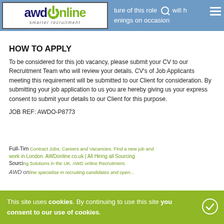ture of this role will have enings on occasion
[Figure (logo): AWD Online logo — smarter recruitment]
HOW TO APPLY
To be considered for this job vacancy, please submit your CV to our Recruitment Team who will review your details. CV's of Job Applicants meeting this requirement will be submitted to our Client for consideration. By submitting your job application to us you are hereby giving us your express consent to submit your details to our Client for this purpose.
JOB REF: AWDO-P8773
Full-Time | Contract Jobs, Careers and Vacancies. Find a new job and work in London. AWDonline.co.uk | All Hiring all Sourcing Solutions in the UK. AWD online Recruitment.
AWD online specialise in recruiting candidates and open...
This site uses cookies. By continuing to use this site you consent to our use of cookies.